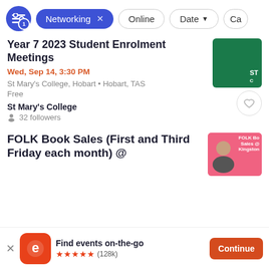[Figure (screenshot): Filter bar with active 'Networking' chip, 'Online' chip, 'Date' dropdown chip, and a filter icon button with badge '1']
Year 7 2023 Student Enrolment Meetings
Wed, Sep 14, 3:30 PM
St Mary's College, Hobart • Hobart, TAS
Free
St Mary's College
32 followers
FOLK Book Sales (First and Third Friday each month) @
[Figure (screenshot): App download banner: Eventbrite logo, 'Find events on-the-go', 5-star rating (128k), Continue button]